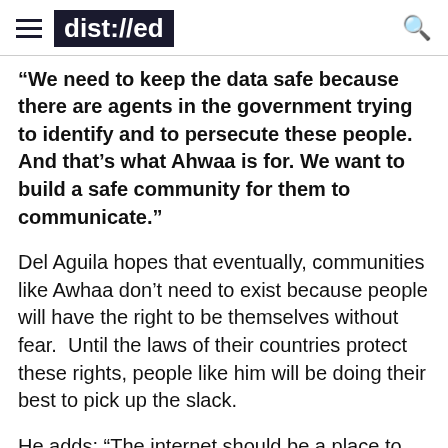dist://ed
“We need to keep the data safe because there are agents in the government trying to identify and to persecute these people. And that’s what Ahwaa is for. We want to build a safe community for them to communicate.”
Del Aguila hopes that eventually, communities like Awhaa don’t need to exist because people will have the right to be themselves without fear.  Until the laws of their countries protect these rights, people like him will be doing their best to pick up the slack.
He adds: “The internet should be a place to share and not to hide.”